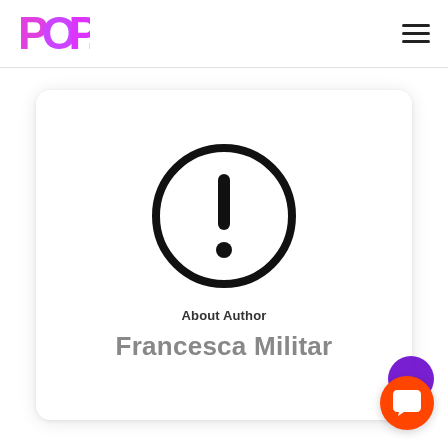POP!
[Figure (illustration): Author profile card with a circular warning/error icon (exclamation mark in a circle), label 'About Author', and author name 'Francesca Militar']
About Author
Francesca Militar